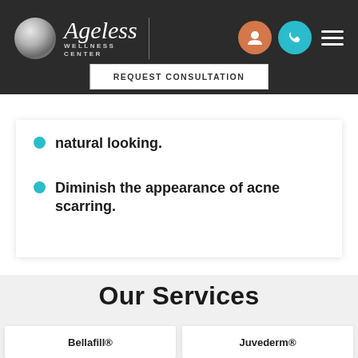Ageless Wellness Center — REQUEST CONSULTATION
natural looking.
Diminish the appearance of acne scarring.
Our Services
Bellafill®
Juvederm®